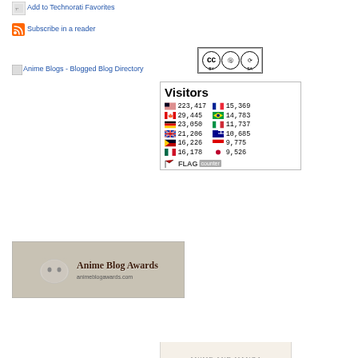[Figure (screenshot): Technorati Favorites icon - small image link]
Add to Technorati Favorites
[Figure (logo): RSS feed orange icon]
Subscribe in a reader
[Figure (screenshot): Anime Blogs - Blogged Blog Directory image link]
[Figure (logo): Creative Commons BY-SA license badge]
[Figure (infographic): Flag Counter showing Visitors widget with country flags and visitor counts: US 223,417; France 15,369; Canada 29,445; Brazil 14,783; Germany 23,050; Italy 11,737; UK 21,206; Australia 10,685; Philippines 16,226; 9,775; Mexico 16,178; Japan 9,526]
[Figure (photo): Anime Blog Awards banner image with cat logo and text animeblogawards.com]
[Figure (screenshot): Anime and Manga Bloggers partial banner]
Privacy & Cookies: This site uses cookies. By continuing to use this website, you agree to their use.
To find out more, including how to control cookies, see here: Cookie Policy
Close and accept